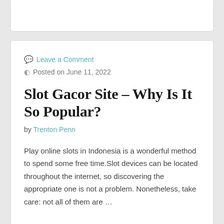Leave a Comment
Posted on June 11, 2022
Slot Gacor Site – Why Is It So Popular?
by Trenton Penn
Play online slots in Indonesia is a wonderful method to spend some free time.Slot devices can be located throughout the internet, so discovering the appropriate one is not a problem. Nonetheless, take care: not all of them are …